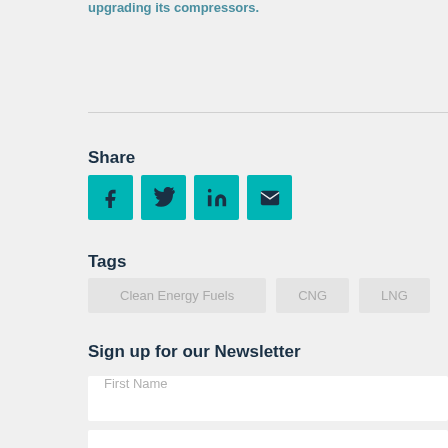upgrading its compressors.
Share
[Figure (other): Social share buttons: Facebook, Twitter, LinkedIn, Email — teal square icon buttons]
Tags
Clean Energy Fuels   CNG   LNG
Sign up for our Newsletter
First Name